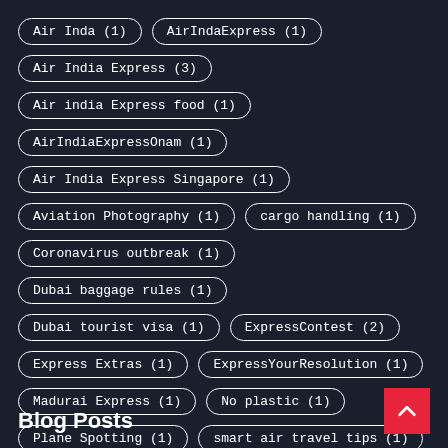Air Inda (1)
AirIndaExpress (1)
Air India Express (3)
Air india Express food (1)
AirIndiaExpressOnam (1)
Air India Express Singapore (1)
Aviation Photography (1)
cargo handling (1)
Coronavirus outbreak (1)
Dubai baggage rules (1)
Dubai tourist visa (1)
ExpressContest (2)
Express Extras (1)
ExpressYourResolution (1)
Madurai Express (1)
No plastic (1)
Plane Spotting (1)
smart air travel tips (1)
Technology (1)
Travel (1)
Blog Posts